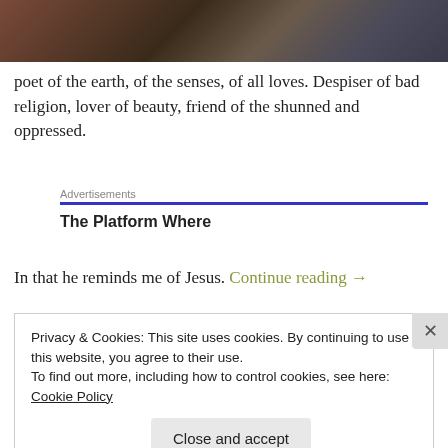[Figure (photo): Painting showing figures in dark dramatic colors, partial view of upper portion]
poet of the earth, of the senses, of all loves. Despiser of bad religion, lover of beauty, friend of the shunned and oppressed.
Advertisements
[blue bar]
The Platform Where
In that he reminds me of Jesus. Continue reading →
Privacy & Cookies: This site uses cookies. By continuing to use this website, you agree to their use.
To find out more, including how to control cookies, see here: Cookie Policy
[Close and accept button]